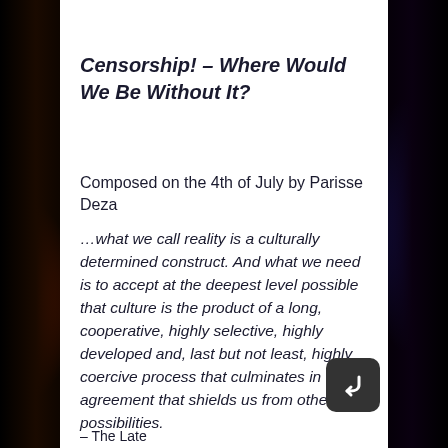Censorship! – Where Would We Be Without It?
Composed on the 4th of July by Parisse Deza
…what we call reality is a culturally determined construct. And what we need is to accept at the deepest level possible that culture is the product of a long, cooperative, highly selective, highly developed and, last but not least, highly coercive process that culminates in agreement that shields us from other possibilities.